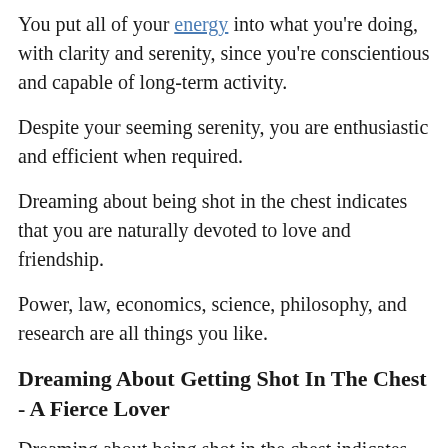You put all of your energy into what you're doing, with clarity and serenity, since you're conscientious and capable of long-term activity.
Despite your seeming serenity, you are enthusiastic and efficient when required.
Dreaming about being shot in the chest indicates that you are naturally devoted to love and friendship.
Power, law, economics, science, philosophy, and research are all things you like.
Dreaming About Getting Shot In The Chest - A Fierce Lover
Dreaming about being shot in the chest indicates that you are a passionate lover.